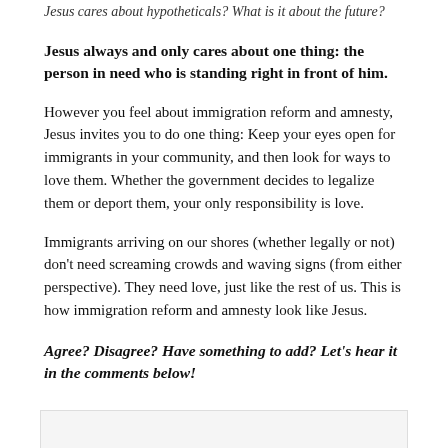Jesus always and only cares about one thing: the person in need who is standing right in front of him.
However you feel about immigration reform and amnesty, Jesus invites you to do one thing: Keep your eyes open for immigrants in your community, and then look for ways to love them. Whether the government decides to legalize them or deport them, your only responsibility is love.
Immigrants arriving on our shores (whether legally or not) don't need screaming crowds and waving signs (from either perspective). They need love, just like the rest of us. This is how immigration reform and amnesty look like Jesus.
Agree? Disagree? Have something to add? Let's hear it in the comments below!